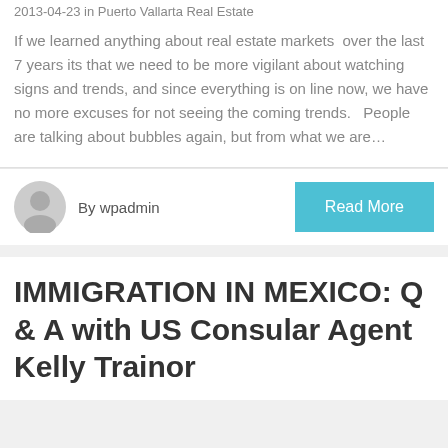2013-04-23 in Puerto Vallarta Real Estate
If we learned anything about real estate markets  over the last 7 years its that we need to be more vigilant about watching signs and trends, and since everything is on line now, we have no more excuses for not seeing the coming trends.   People are talking about bubbles again, but from what we are…
By wpadmin
Read More
IMMIGRATION IN MEXICO: Q & A with US Consular Agent Kelly Trainor